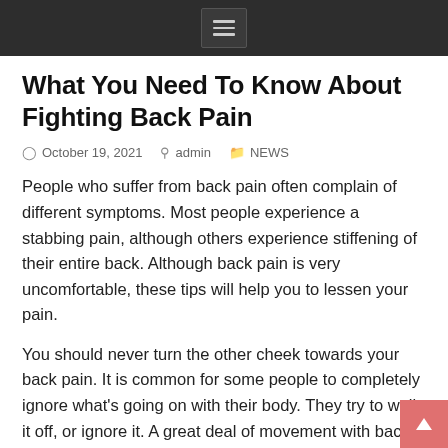Menu icon navigation bar
What You Need To Know About Fighting Back Pain
October 19, 2021   admin   NEWS
People who suffer from back pain often complain of different symptoms. Most people experience a stabbing pain, although others experience stiffening of their entire back. Although back pain is very uncomfortable, these tips will help you to lessen your pain.
You should never turn the other cheek towards your back pain. It is common for some people to completely ignore what's going on with their body. They try to walk it off, or ignore it. A great deal of movement with back pain risks worsening the ache. Try your best to ease up on yourself until the pain goes away.